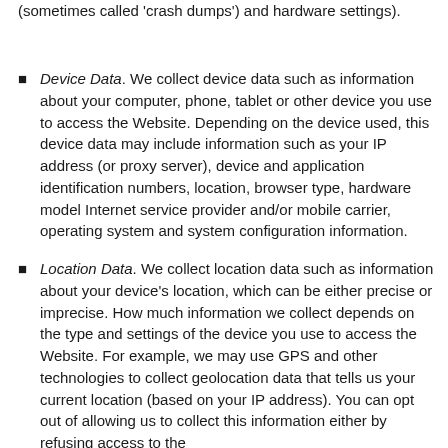(sometimes called 'crash dumps') and hardware settings).
Device Data. We collect device data such as information about your computer, phone, tablet or other device you use to access the Website. Depending on the device used, this device data may include information such as your IP address (or proxy server), device and application identification numbers, location, browser type, hardware model Internet service provider and/or mobile carrier, operating system and system configuration information.
Location Data. We collect location data such as information about your device's location, which can be either precise or imprecise. How much information we collect depends on the type and settings of the device you use to access the Website. For example, we may use GPS and other technologies to collect geolocation data that tells us your current location (based on your IP address). You can opt out of allowing us to collect this information either by refusing access to the